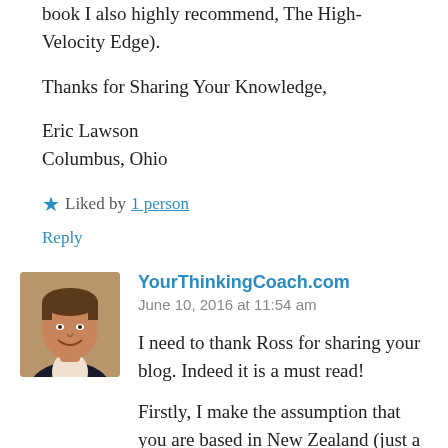book I also highly recommend, The High-Velocity Edge).
Thanks for Sharing Your Knowledge,
Eric Lawson
Columbus, Ohio
★ Liked by 1 person
Reply
[Figure (photo): Headshot of a smiling man in a dark jacket]
YourThinkingCoach.com
June 10, 2016 at 11:54 am
I need to thank Ross for sharing your blog. Indeed it is a must read!
Firstly, I make the assumption that you are based in New Zealand (just a hunch...